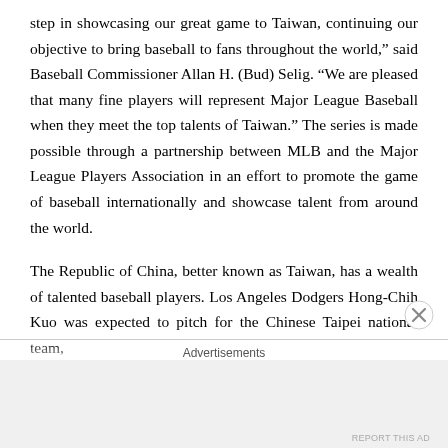step in showcasing our great game to Taiwan, continuing our objective to bring baseball to fans throughout the world,” said Baseball Commissioner Allan H. (Bud) Selig. “We are pleased that many fine players will represent Major League Baseball when they meet the top talents of Taiwan.” The series is made possible through a partnership between MLB and the Major League Players Association in an effort to promote the game of baseball internationally and showcase talent from around the world.
The Republic of China, better known as Taiwan, has a wealth of talented baseball players. Los Angeles Dodgers Hong-Chih Kuo was expected to pitch for the Chinese Taipei national team,
Advertisements